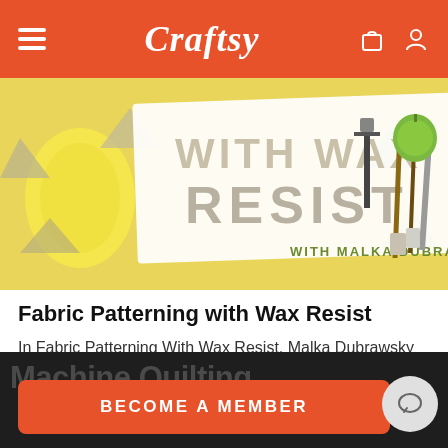Craftsy
[Figure (photo): Hero image for Fabric Patterning with Wax Resist course — shows a card reading 'WITH WAX RESIST' and 'WITH MALKA DUBRAWSKY' alongside painting tools and yellow/grey patterned fabric]
Fabric Patterning with Wax Resist
In Fabric Patterning With Wax Resist, Malka Dubrawsky teaches the ancient art of batik with a modern spin.
Machine Quilting
BECOME A MEMBER